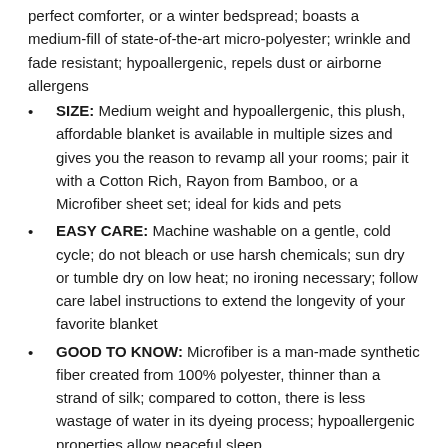perfect comforter, or a winter bedspread; boasts a medium-fill of state-of-the-art micro-polyester; wrinkle and fade resistant; hypoallergenic, repels dust or airborne allergens
SIZE: Medium weight and hypoallergenic, this plush, affordable blanket is available in multiple sizes and gives you the reason to revamp all your rooms; pair it with a Cotton Rich, Rayon from Bamboo, or a Microfiber sheet set; ideal for kids and pets
EASY CARE: Machine washable on a gentle, cold cycle; do not bleach or use harsh chemicals; sun dry or tumble dry on low heat; no ironing necessary; follow care label instructions to extend the longevity of your favorite blanket
GOOD TO KNOW: Microfiber is a man-made synthetic fiber created from 100% polyester, thinner than a strand of silk; compared to cotton, there is less wastage of water in its dyeing process; hypoallergenic properties allow peaceful sleep
MACHINE WASHABLE: The comforter is machine washable and dryer safe so it's easy to clean whenever needed. The double-needle stitching prevents the polyester fill from moving around so it's always evenly distributed